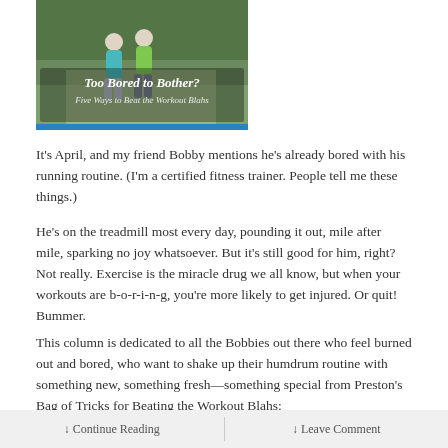[Figure (photo): Photo of two runners on a path with text overlay: 'Too Bored to Bother? Five Ways to Beat the Workout Blahs']
It's April, and my friend Bobby mentions he's already bored with his running routine. (I'm a certified fitness trainer. People tell me these things.)
He's on the treadmill most every day, pounding it out, mile after mile, sparking no joy whatsoever. But it's still good for him, right? Not really. Exercise is the miracle drug we all know, but when your workouts are b-o-r-i-n-g, you're more likely to get injured. Or quit! Bummer.
This column is dedicated to all the Bobbies out there who feel burned out and bored, who want to shake up their humdrum routine with something new, something fresh—something special from Preston's Bag of Tricks for Beating the Workout Blahs:
↓ Continue Reading    ↓ Leave Comment